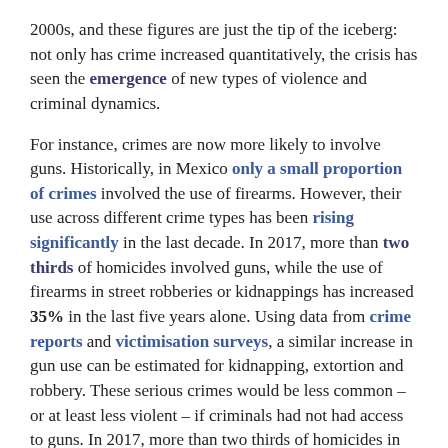2000s, and these figures are just the tip of the iceberg: not only has crime increased quantitatively, the crisis has seen the emergence of new types of violence and criminal dynamics.
For instance, crimes are now more likely to involve guns. Historically, in Mexico only a small proportion of crimes involved the use of firearms. However, their use across different crime types has been rising significantly in the last decade. In 2017, more than two thirds of homicides involved guns, while the use of firearms in street robberies or kidnappings has increased 35% in the last five years alone. Using data from crime reports and victimisation surveys, a similar increase in gun use can be estimated for kidnapping, extortion and robbery. These serious crimes would be less common – or at least less violent – if criminals had not had access to guns. In 2017, more than two thirds of homicides in Mexico involved guns
However, rising drug crime in Mexico is the most alarming...